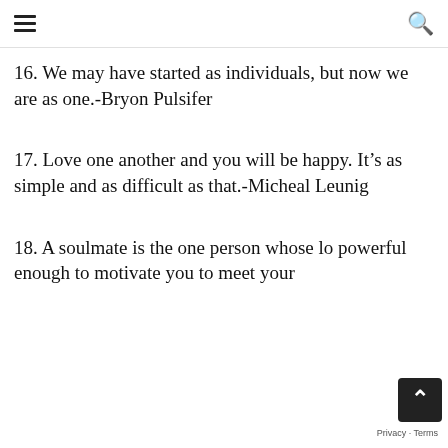≡  🔍
16. We may have started as individuals, but now we are as one.-Bryon Pulsifer
17. Love one another and you will be happy. It's as simple and as difficult as that.-Micheal Leunig
18. A soulmate is the one person whose lo powerful enough to motivate you to meet your